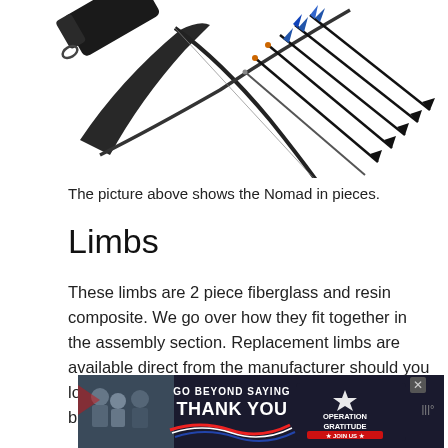[Figure (photo): Photo of a takedown recurve bow (the Nomad) shown in pieces: black bow limbs, riser with strap, and several black arrows with blue fletching arranged diagonally on a white background.]
The picture above shows the Nomad in pieces.
Limbs
These limbs are 2 piece fiberglass and resin composite. We go over how they fit together in the assembly section. Replacement limbs are available direct from the manufacturer should you lose one of the 4 pieces that make them up, or break one.
[Figure (photo): Advertisement banner: 'GO BEYOND SAYING THANK YOU' with Operation Gratitude logo and JOIN US button, showing people in a group photo on the left side.]